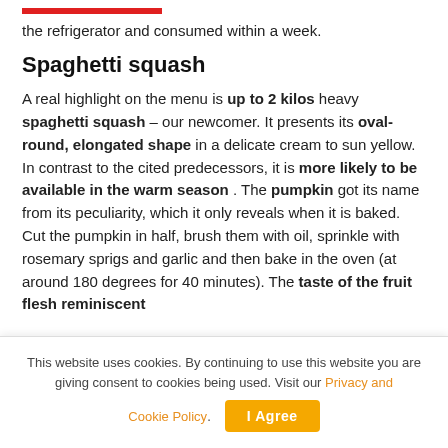the refrigerator and consumed within a week.
Spaghetti squash
A real highlight on the menu is up to 2 kilos heavy spaghetti squash – our newcomer. It presents its oval-round, elongated shape in a delicate cream to sun yellow. In contrast to the cited predecessors, it is more likely to be available in the warm season . The pumpkin got its name from its peculiarity, which it only reveals when it is baked. Cut the pumpkin in half, brush them with oil, sprinkle with rosemary sprigs and garlic and then bake in the oven (at around 180 degrees for 40 minutes). The taste of the fruit flesh reminiscent
This website uses cookies. By continuing to use this website you are giving consent to cookies being used. Visit our Privacy and Cookie Policy.